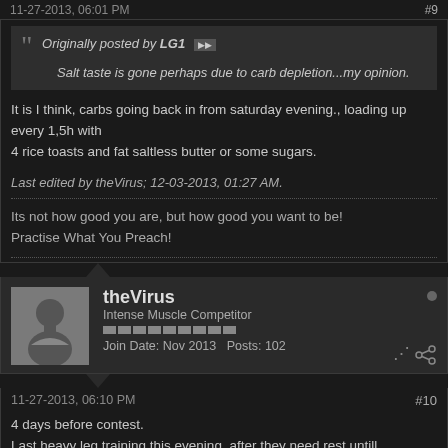11-27-2013, 06:01 PM   #9
Originally posted by LG1 — Salt taste is gone perhaps due to carb depletion...my opinion.
It is I think, carbs going back in from saturday evening., loading up every 1,5h with
4 rice toasts and fat saltless butter or some sugars.
Last edited by theVirus; 12-03-2013, 01:27 AM.
Its not how good you are, but how good you want to be!
Practise What You Preach!
theVirus
Intense Muscle Competitor
Join Date: Nov 2013   Posts: 102
11-27-2013, 06:10 PM   #10
4 days before contest.
Last heavy leg training this evening, after they need rest untill